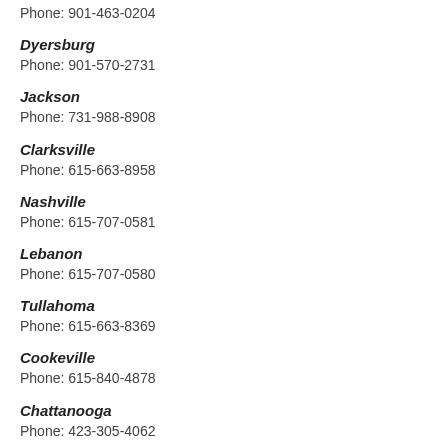Phone: 901-463-0204
Dyersburg
Phone: 901-570-2731
Jackson
Phone: 731-988-8908
Clarksville
Phone: 615-663-8958
Nashville
Phone: 615-707-0581
Lebanon
Phone: 615-707-0580
Tullahoma
Phone: 615-663-8369
Cookeville
Phone: 615-840-4878
Chattanooga
Phone: 423-305-4062
Athens